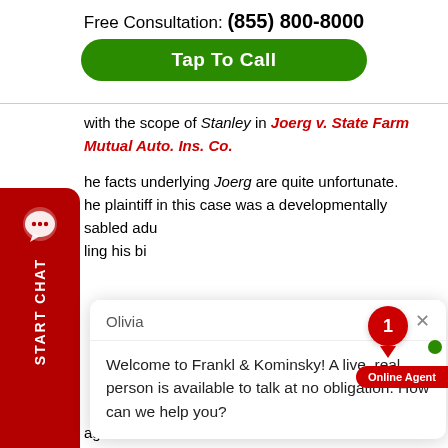Free Consultation: (855) 800-8000
Tap To Call
with the scope of Stanley in Joerg v. State Farm Mutual Auto. Ins. Co.
he facts underlying Joerg are quite unfortunate. he plaintiff in this case was a developmentally sabled adu ling his bi d lived wi d never b ccident, the against the driver of the other vehicle and his personal uninsured motorist insurer, State Mutual. Prior to trial, the plaintiff filed a mo limit introduction of evidence about collateral sources, including benefits under Medicare and
[Figure (screenshot): Chat popup from Olivia at Frankl & Kominsky: 'Welcome to Frankl & Kominsky! A live, real person is available to talk at no obligation. How can we help you?']
[Figure (infographic): START CHAT sidebar button in red on left side of page]